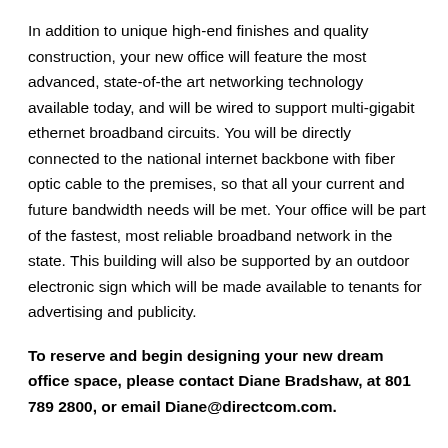In addition to unique high-end finishes and quality construction, your new office will feature the most advanced, state-of-the art networking technology available today, and will be wired to support multi-gigabit ethernet broadband circuits. You will be directly connected to the national internet backbone with fiber optic cable to the premises, so that all your current and future bandwidth needs will be met. Your office will be part of the fastest, most reliable broadband network in the state. This building will also be supported by an outdoor electronic sign which will be made available to tenants for advertising and publicity.
To reserve and begin designing your new dream office space, please contact Diane Bradshaw, at 801 789 2800, or email Diane@directcom.com.